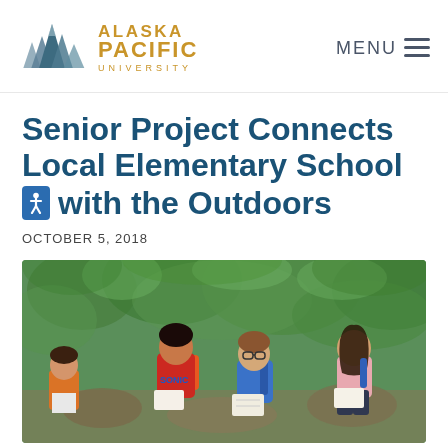[Figure (logo): Alaska Pacific University logo with mountain peaks SVG icon and gold text]
Senior Project Connects Local Elementary School with the Outdoors
OCTOBER 5, 2018
[Figure (photo): Four elementary school children sitting outdoors among green foliage, writing in notebooks, wearing backpacks]